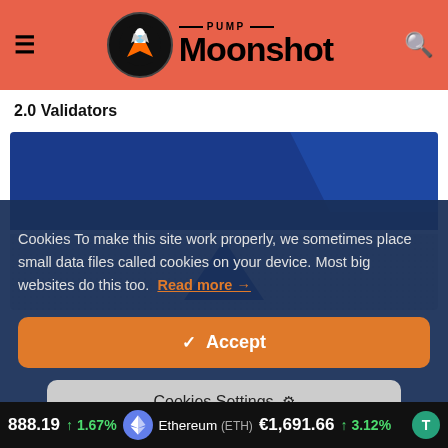PUMP Moonshot
2.0 Validators
[Figure (photo): Blue and white diagonal striped graphic/image with a blue triangle shape in the center lower portion]
Cookies To make this site work properly, we sometimes place small data files called cookies on your device. Most big websites do this too. Read more →
✔ Accept
Cookies Settings ⚙
888.19 ↑ 1.67% Ethereum (ETH) €1,691.66 ↑ 3.12%